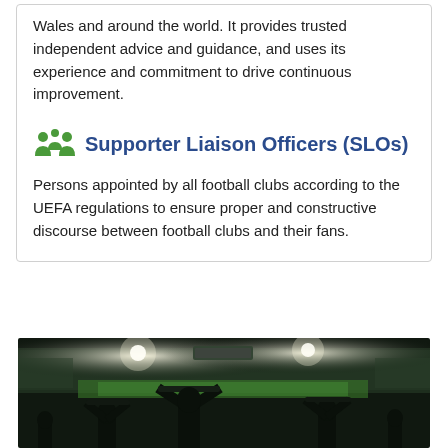Wales and around the world. It provides trusted independent advice and guidance, and uses its experience and commitment to drive continuous improvement.
Supporter Liaison Officers (SLOs)
Persons appointed by all football clubs according to the UEFA regulations to ensure proper and constructive discourse between football clubs and their fans.
[Figure (photo): Stadium photo at night with silhouettes of fans in the foreground holding scarves aloft, bright floodlights illuminating the pitch and packed stands in the background.]